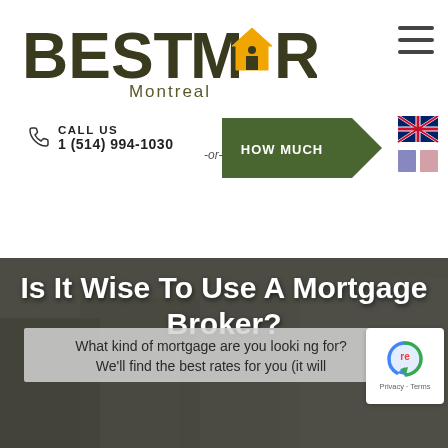[Figure (logo): Best Mortgage Montreal logo with house icon in letter O]
[Figure (other): Hamburger menu icon (three horizontal lines)]
CALL US
1 (514) 994-1030
[Figure (other): Green arrow/chevron button with text HOW MUCH]
[Figure (other): UK flag and two small colored flag swatches (blue and pink) for language selection]
[Figure (photo): Grayscale office background photo with people working at desks]
Is It Wise To Use A Mortgage Broker?
What kind of mortgage are you looking for?
We'll find the best rates for you (it will
[Figure (other): Google reCAPTCHA badge with Privacy and Terms links]